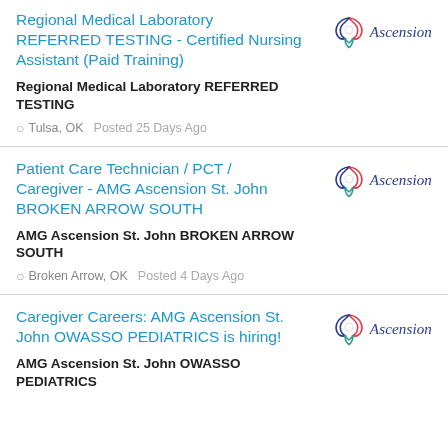Regional Medical Laboratory REFERRED TESTING - Certified Nursing Assistant (Paid Training)
Regional Medical Laboratory REFERRED TESTING
Tulsa, OK  Posted 25 Days Ago
Patient Care Technician / PCT / Caregiver - AMG Ascension St. John BROKEN ARROW SOUTH
AMG Ascension St. John BROKEN ARROW SOUTH
Broken Arrow, OK  Posted 4 Days Ago
Caregiver Careers: AMG Ascension St. John OWASSO PEDIATRICS is hiring!
AMG Ascension St. John OWASSO PEDIATRICS